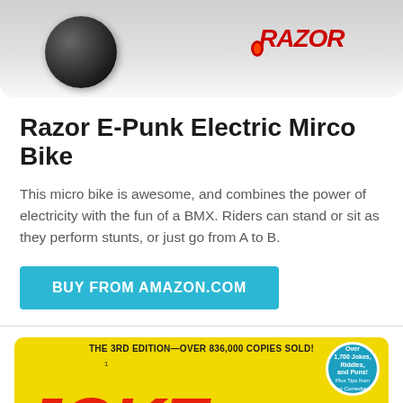[Figure (photo): Top portion of a product listing showing a Razor E-Punk electric micro bike image with the Razor brand logo on a grey background.]
Razor E-Punk Electric Mirco Bike
This micro bike is awesome, and combines the power of electricity with the fun of a BMX. Riders can stand or sit as they perform stunts, or just go from A to B.
BUY FROM AMAZON.COM
[Figure (photo): Bottom portion of a book cover showing 'THE 3RD EDITION—OVER 836,000 COPIES SOLD!' text on a yellow background with large red stylized letters spelling JOKE and a blue badge reading 'Over 1,700 Jokes, Riddles, and Puns! Plus Tips from Top Comedians']